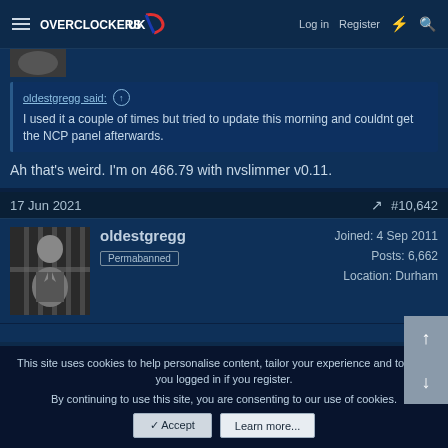Overclockers UK — Log in | Register
oldestgregg said: ↑
I used it a couple of times but tried to update this morning and couldnt get the NCP panel afterwards.
Ah that's weird. I'm on 466.79 with nvslimmer v0.11.
17 Jun 2021   #10,642
oldestgregg
Permabanned
Joined: 4 Sep 2011
Posts: 6,662
Location: Durham
This site uses cookies to help personalise content, tailor your experience and to keep you logged in if you register.
By continuing to use this site, you are consenting to our use of cookies.